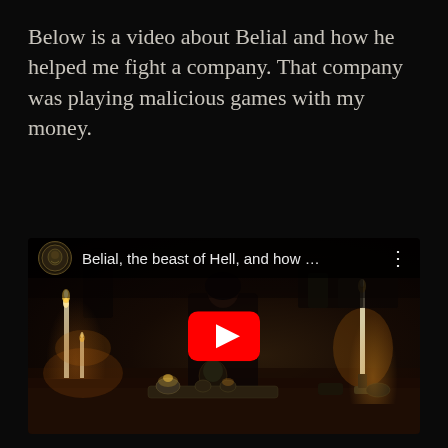Below is a video about Belial and how he helped me fight a company. That company was playing malicious games with my money.
[Figure (screenshot): Embedded YouTube video thumbnail showing a dark candlelit room scene with a woman at a table surrounded by candles, ritual objects, and ornate items. The YouTube video bar at the top shows a channel avatar and the title 'Belial, the beast of Hell, and how ...' with a three-dot menu icon. A large red YouTube play button is centered over the dark scene.]